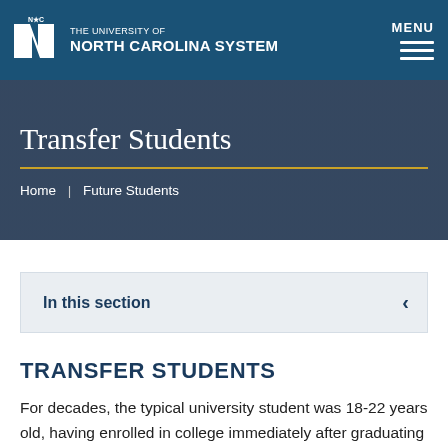THE UNIVERSITY OF NORTH CAROLINA SYSTEM | MENU
Transfer Students
Home | Future Students
In this section
TRANSFER STUDENTS
For decades, the typical university student was 18-22 years old, having enrolled in college immediately after graduating from high school. But as our economy has grown more complex and adults need to pursue more education to meet the demands of the modern workforce, this "traditional